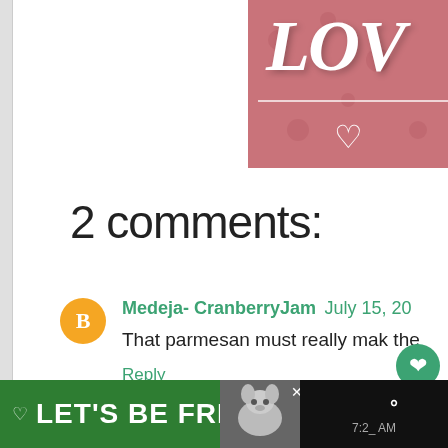[Figure (illustration): Pink/rose colored banner in top-right corner with italic bold white text 'LOV' (partially cropped), a horizontal white line, and a white heart outline below it, with subtle paw print pattern in background]
2 comments:
Medeja- CranberryJam July 15, 20...
That parmesan must really make the...
Reply
[Figure (infographic): Green advertisement banner at bottom reading LET'S BE FRIENDS with dog image and media widget showing time 7:2_ AM]